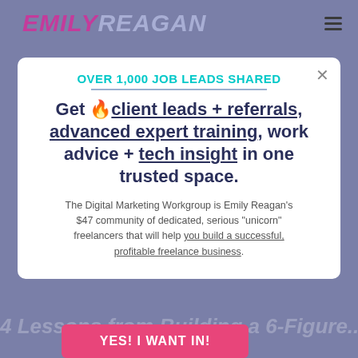EMILY REAGAN
OVER 1,000 JOB LEADS SHARED
Get 🔥client leads + referrals, advanced expert training, work advice + tech insight in one trusted space.
The Digital Marketing Workgroup is Emily Reagan's $47 community of dedicated, serious "unicorn" freelancers that will help you build a successful, profitable freelance business.
YES! I WANT IN!